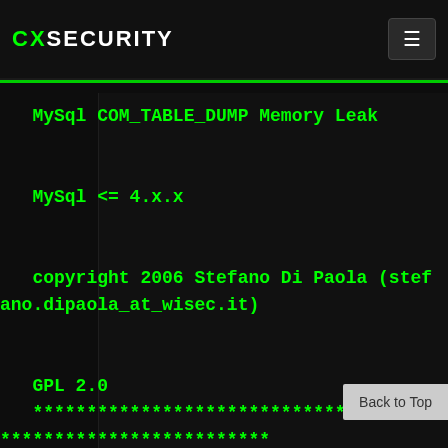CXSECURITY
MySql COM_TABLE_DUMP Memory Leak

MySql <= 4.x.x

copyright 2006 Stefano Di Paola (stefano.dipaola_at_wisec.it)

GPL 2.0
***************************************
**************************

Disclaimer:

In no event shall the author be liable
for any damages
    whatsoever arising out of or in conne